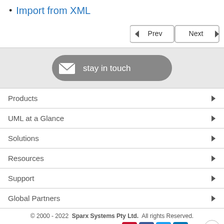Import from XML
[Figure (other): Navigation buttons: Prev and Next]
[Figure (other): Stay in touch button with envelope icon]
Products
UML at a Glance
Solutions
Resources
Support
Global Partners
© 2000 - 2022  Sparx Systems Pty Ltd.  All rights Reserved.  Legal | Privacy | About us